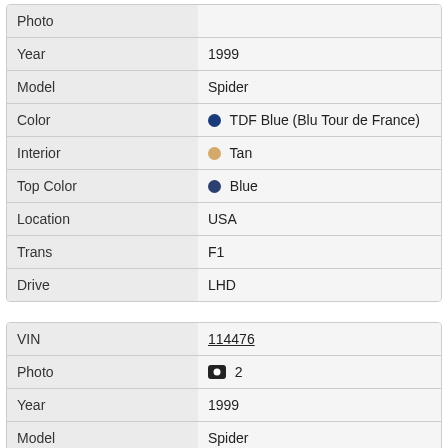| Field | Value |
| --- | --- |
| Photo |  |
| Year | 1999 |
| Model | Spider |
| Color | TDF Blue (Blu Tour de France) |
| Interior | Tan |
| Top Color | Blue |
| Location | USA |
| Trans | F1 |
| Drive | LHD |
| Field | Value |
| --- | --- |
| VIN | 114476 |
| Photo | 2 |
| Year | 1999 |
| Model | Spider |